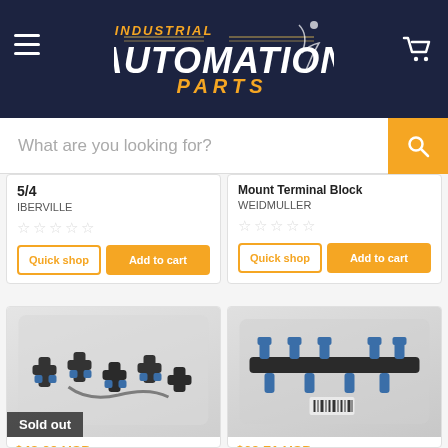[Figure (logo): Industrial Automation Parts logo on dark navy background with hamburger menu and cart icon]
What are you looking for?
5/4
IBERVILLE
☆☆☆☆☆
Mount Terminal Block
WEIDMULLER
☆☆☆☆☆
[Figure (photo): Pneumatic fittings in clear plastic bag, sold out]
Sold out
$48.29 USD
[Figure (photo): Pneumatic fittings in clear plastic bag]
$69.71 USD